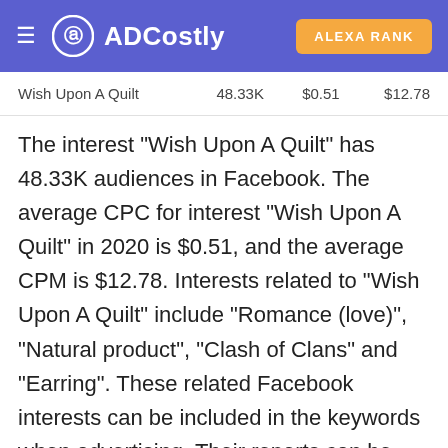ADCostly | ALEXA RANK
|  |  |  |  |
| --- | --- | --- | --- |
| Wish Upon A Quilt | 48.33K | $0.51 | $12.78 |
The interest "Wish Upon A Quilt" has 48.33K audiences in Facebook. The average CPC for interest "Wish Upon A Quilt" in 2020 is $0.51, and the average CPM is $12.78. Interests related to "Wish Upon A Quilt" include "Romance (love)", "Natural product", "Clash of Clans" and "Earring". These related Facebook interests can be included in the keywords when advertising. Their reports can be viewed at the end of this report. If you need to get more audience of